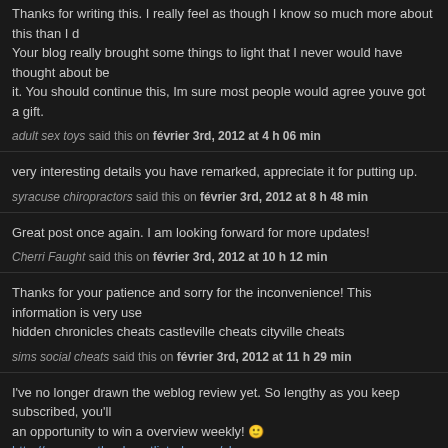Thanks for writing this. I really feel as though I know so much more about this than I d... Your blog really brought some things to light that I never would have thought about be... it. You should continue this, Im sure most people would agree youve got a gift.
adult sex toys said this on février 3rd, 2012 at 4 h 06 min
very interesting details you have remarked, appreciate it for putting up.
syracuse chiropractors said this on février 3rd, 2012 at 8 h 48 min
Great post once again. I am looking forward for more updates!
Cherri Faught said this on février 3rd, 2012 at 10 h 12 min
Thanks for your patience and sorry for the inconvenience! This information is very use... hidden chronicles cheats castleville cheats cityville cheats
sims social cheats said this on février 3rd, 2012 at 11 h 29 min
I've no longer drawn the weblog review yet. So lengthy as you keep subscribed, you'll... an opportunity to win a overview weekly! 🙂 http://www.pentlands.getlisted.co.nz/cheap-... auckland-city
cheap hotels in auckland city said this on février 3rd, 2012 at 11 h 58 min